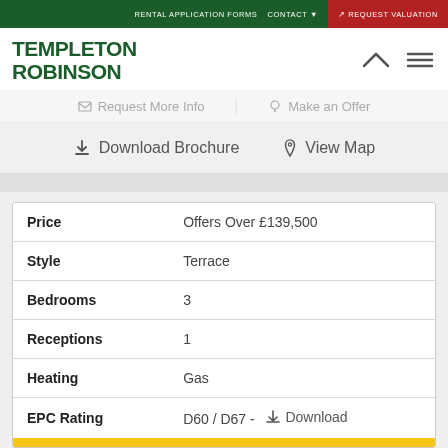RENTAL APPLICATION FORMS   CONTACT   REQUEST VALUATION
TEMPLETON ROBINSON
Request More Info   Make an Offer
Download Brochure   View Map
| Field | Value |
| --- | --- |
| Price | Offers Over £139,500 |
| Style | Terrace |
| Bedrooms | 3 |
| Receptions | 1 |
| Heating | Gas |
| EPC Rating | D60 / D67 -  Download |